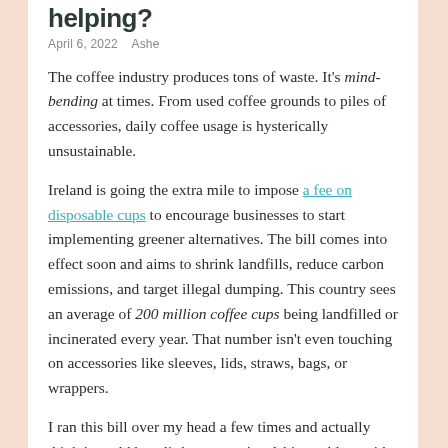helping?
April 6, 2022   Ashe
The coffee industry produces tons of waste. It's mind-bending at times. From used coffee grounds to piles of accessories, daily coffee usage is hysterically unsustainable.
Ireland is going the extra mile to impose a fee on disposable cups to encourage businesses to start implementing greener alternatives. The bill comes into effect soon and aims to shrink landfills, reduce carbon emissions, and target illegal dumping. This country sees an average of 200 million coffee cups being landfilled or incinerated every year. That number isn't even touching on accessories like sleeves, lids, straws, bags, or wrappers.
I ran this bill over my head a few times and actually think it could be a little more strict. A big problem with eco-friendly